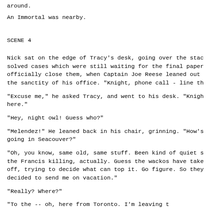around.
An Immortal  was nearby.
SCENE 4
Nick sat on the edge of Tracy's desk, going over the stac solved cases which were still waiting for the final paper officially close them, when Captain Joe Reese leaned out the sanctity of his office. "Knight, phone call - line th
"Excuse me," he asked Tracy, and went to his desk. "Knigh here."
"Hey, night owl! Guess who?"
"Melendez!" He leaned back in his chair, grinning. "How's going in Seacouver?"
"Oh, you know, same old, same stuff. Been kind of quiet s the Francis killing, actually. Guess the wackos have take off, trying to decide what can top it. Go figure. So they decided to send me on vacation."
"Really? Where?"
"To the  -- oh, here from Toronto. I'm leaving t